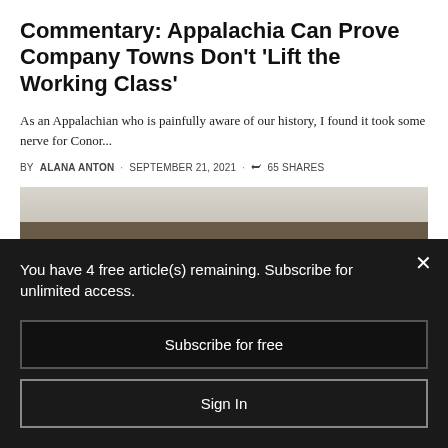Commentary: Appalachia Can Prove Company Towns Don't 'Lift the Working Class'
As an Appalachian who is painfully aware of our history, I found it took some nerve for Conor...
BY ALANA ANTON · SEPTEMBER 21, 2021 · 65 SHARES
[Figure (photo): Landscape photo showing hills or mountains in the background with a pale sky]
You have 4 free article(s) remaining. Subscribe for unlimited access.
Subscribe for free
Sign In